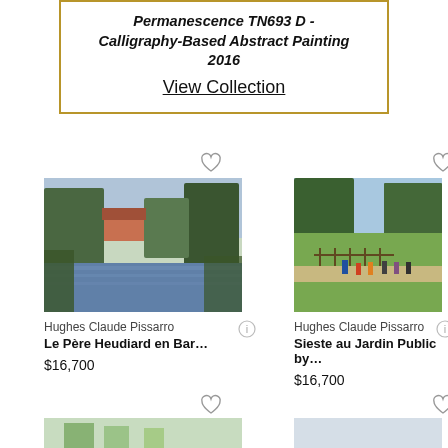Permanescence TN693 D - Calligraphy-Based Abstract Painting 2016
View Collection
[Figure (photo): Impressionist landscape painting of a river with trees and a house by Hughes Claude Pissarro - Le Père Heudiard en Bar...]
[Figure (photo): Impressionist park scene with figures by Hughes Claude Pissarro - Sieste au Jardin Public by...]
Hughes Claude Pissarro
Le Père Heudiard en Bar...
$16,700
Hughes Claude Pissarro
Sieste au Jardin Public by...
$16,700
[Figure (photo): Partially visible painting at bottom left - impressionist style tree scene]
[Figure (photo): Partially visible painting at bottom right - light grey/blue tones]